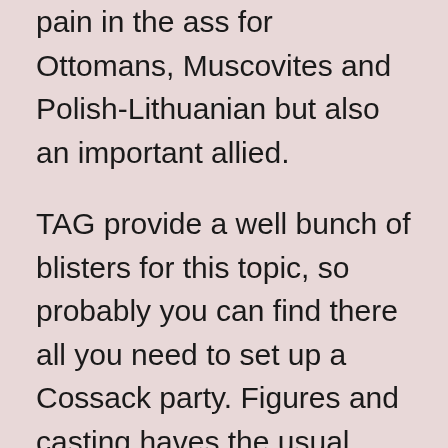pain in the ass for Ottomans, Muscovites and Polish-Lithuanian but also an important allied.
TAG provide a well bunch of blisters for this topic, so probably you can find there all you need to set up a Cossack party. Figures and casting haves the usual quality in the brand. To say and odd, maybe the horses aren't best in the market, but they do his job reasonably well.
Paint all those hordes, with so many colour change are more tedious and laborious than other units, but at the end, the work is done. Officers' capes are decorated using “nails decals”, yes you have read right, painting over